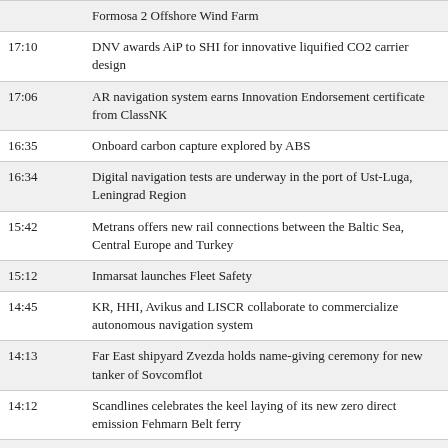Formosa 2 Offshore Wind Farm
17:10 DNV awards AiP to SHI for innovative liquified CO2 carrier design
17:06 AR navigation system earns Innovation Endorsement certificate from ClassNK
16:35 Onboard carbon capture explored by ABS
16:34 Digital navigation tests are underway in the port of Ust-Luga, Leningrad Region
15:42 Metrans offers new rail connections between the Baltic Sea, Central Europe and Turkey
15:12 Inmarsat launches Fleet Safety
14:45 KR, HHI, Avikus and LISCR collaborate to commercialize autonomous navigation system
14:13 Far East shipyard Zvezda holds name-giving ceremony for new tanker of Sovcomflot
14:12 Scandlines celebrates the keel laying of its new zero direct emission Fehmarn Belt ferry
13:49 Rolls-Royce will deliver mtu naval gensets for F126
13:24 Saipem and Siemens Energy sign a MoU to jointly develop a concept